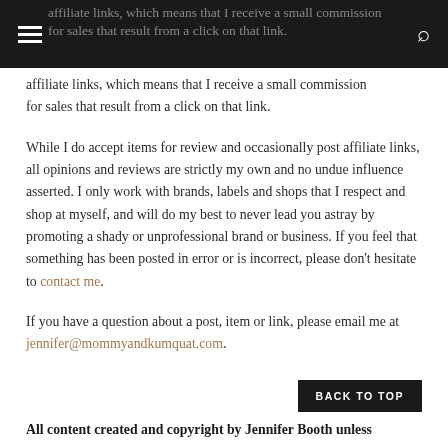affiliate links, which means that I receive a small commission for sales that result from a click on that link.
While I do accept items for review and occasionally post affiliate links, all opinions and reviews are strictly my own and no undue influence asserted. I only work with brands, labels and shops that I respect and shop at myself, and will do my best to never lead you astray by promoting a shady or unprofessional brand or business. If you feel that something has been posted in error or is incorrect, please don't hesitate to contact me.
If you have a question about a post, item or link, please email me at jennifer@mommyandkumquat.com.
All content created and copyright by Jennifer Booth unless